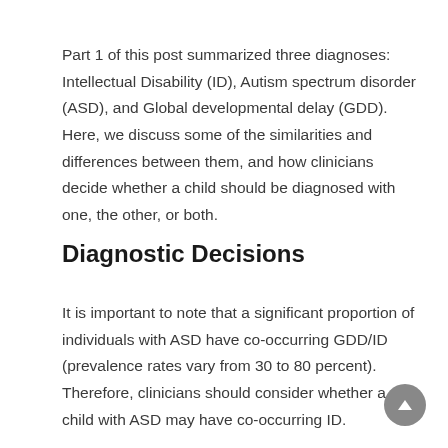Part 1 of this post summarized three diagnoses: Intellectual Disability (ID), Autism spectrum disorder (ASD), and Global developmental delay (GDD). Here, we discuss some of the similarities and differences between them, and how clinicians decide whether a child should be diagnosed with one, the other, or both.
Diagnostic Decisions
It is important to note that a significant proportion of individuals with ASD have co-occurring GDD/ID (prevalence rates vary from 30 to 80 percent). Therefore, clinicians should consider whether a child with ASD may have co-occurring ID.